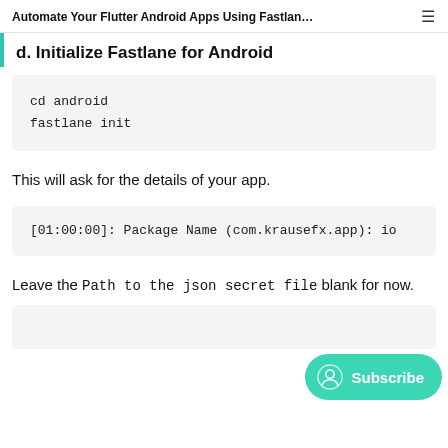Automate Your Flutter Android Apps Using Fastlan...
d. Initialize Fastlane for Android
cd android
fastlane init
This will ask for the details of your app.
[01:00:00]: Package Name (com.krausefx.app): io
Leave the Path to the json secret file blank for now.
[Figure (other): Subscribe button with user icon]